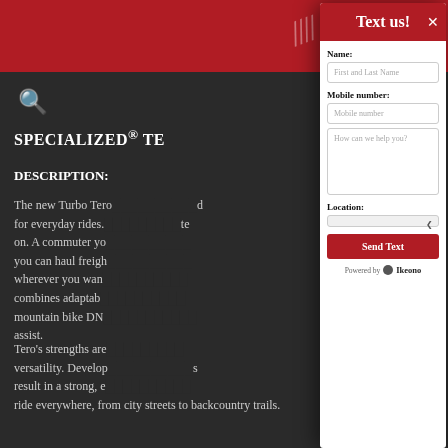[Figure (screenshot): Screenshot of a bicycle shop website showing a 'Text us!' modal dialog overlaid on a product page. The modal contains a contact form with fields for Name, Mobile number, a message box, and Location dropdown, plus a Send Text button. The background shows the Specialized Turbo Tero product page with red header and dark background.]
Text us!
Name:
First and Last Name
Mobile number:
Mobile number
How can we help you?
Location:
Send Text
Powered by  Ikeono
SPECIALIZED® TE
DESCRIPTION:
The new Turbo Tero ... d for everyday rides. ... te on. A commuter yo ... you can haul freigh ... wherever you wan ... combines adaptab ... mountain bike DNA ... assist.
Tero's strengths are ... versatility. Develop ... s result in a strong, e ... ride everywhere, from city streets to backcountry trails.